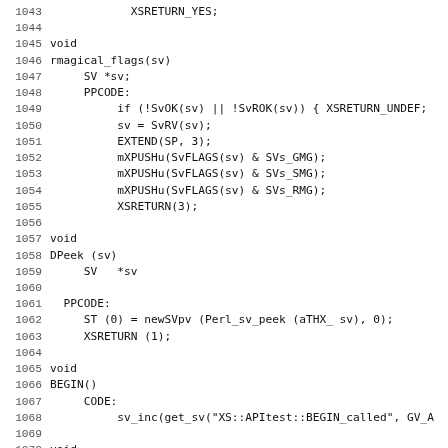Code listing lines 1043-1074: Perl XS source code including rmagical_flags, DPeek, BEGIN, and CHECK functions